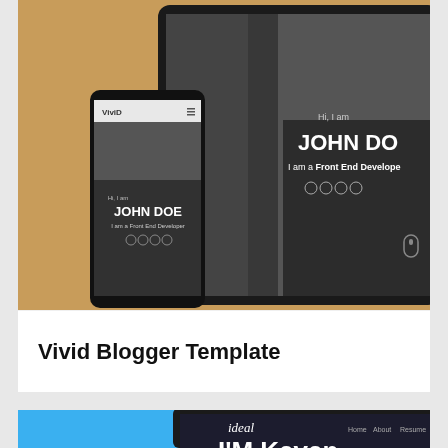[Figure (screenshot): Vivid Blogger Template mockup showing a personal portfolio page with 'JOHN DOE - Front End Developer' hero section displayed on a tablet and mobile phone device frame against a golden/tan background]
Vivid Blogger Template
[Figure (screenshot): Ideal Blogger Template mockup showing a personal portfolio page with 'I'M Kevin' text visible on a tablet device frame against a bright blue background]